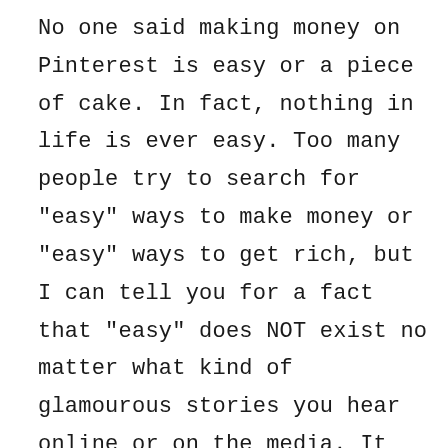No one said making money on Pinterest is easy or a piece of cake. In fact, nothing in life is ever easy. Too many people try to search for "easy" ways to make money or "easy" ways to get rich, but I can tell you for a fact that "easy" does NOT exist no matter what kind of glamourous stories you hear online or on the media. It actually requires time, effort and dedication. But of course, if you're like me, who is super passionate and excited about learning how to use Pinterest to monetize your blog, then the progress will seem much